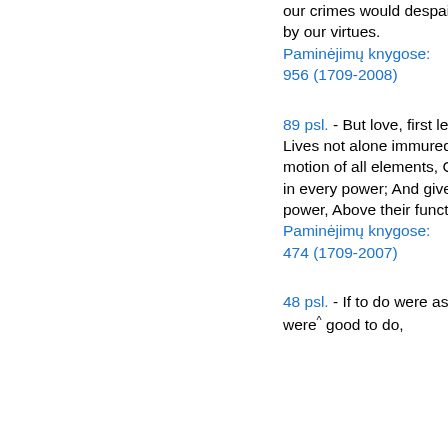our crimes would despair if they were not cherished by our virtues. Paminėjimų knygose: 956 (1709-2008)
89 psl. - But love, first learned in a lady's eyes, Lives not alone immured in the brain; But with the motion of all elements, Courses as swift as thought in every power; And gives to every power a double power, Above their functions and their offices. Paminėjimų knygose: 474 (1709-2007)
48 psl. - If to do were as easy as to know what were^ good to do,